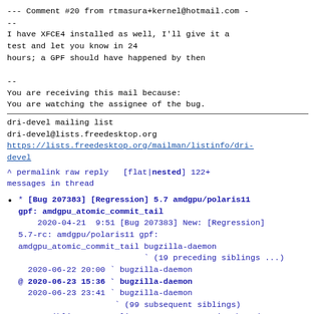--- Comment #20 from rtmasura+kernel@hotmail.com -
--
I have XFCE4 installed as well, I'll give it a
test and let you know in 24
hours; a GPF should have happened by then

--
You are receiving this mail because:
You are watching the assignee of the bug.
dri-devel mailing list
dri-devel@lists.freedesktop.org
https://lists.freedesktop.org/mailman/listinfo/dri-devel
^ permalink raw reply   [flat|nested] 122+
messages in thread
* [Bug 207383] [Regression] 5.7 amdgpu/polaris11
gpf: amdgpu_atomic_commit_tail
    2020-04-21  9:51 [Bug 207383] New: [Regression]
5.7-rc: amdgpu/polaris11 gpf:
amdgpu_atomic_commit_tail bugzilla-daemon
                          ` (19 preceding siblings ...)
  2020-06-22 20:00 ` bugzilla-daemon
@ 2020-06-23 15:36 ` bugzilla-daemon
  2020-06-23 23:41 ` bugzilla-daemon
                    ` (99 subsequent siblings)
  120 siblings, 0 replies; 122+ messages in thread